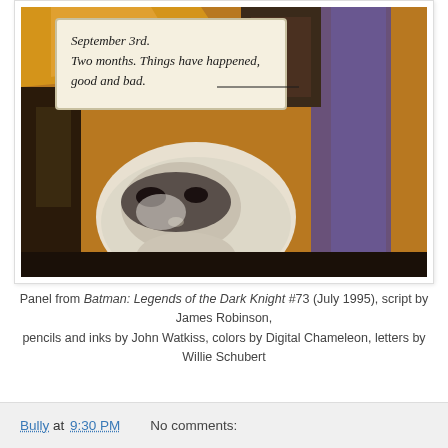[Figure (illustration): Comic book panel from Batman: Legends of the Dark Knight #73. Shows a figure looking up from below with dark urban/architectural background and golden/amber tones. A caption box in the upper portion reads: 'September 3rd. Two months. Things have happened, good and bad.' A masked or pale-faced character is visible in the lower portion of the panel.]
Panel from Batman: Legends of the Dark Knight #73 (July 1995), script by James Robinson, pencils and inks by John Watkiss, colors by Digital Chameleon, letters by Willie Schubert
Bully at 9:30 PM    No comments: